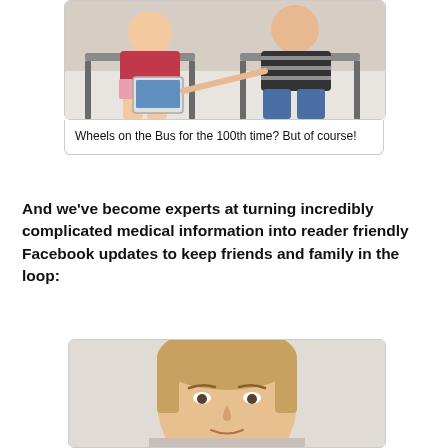[Figure (photo): Two people sitting in chairs, one holding a tablet, the other pointing at it. Medical waiting room setting.]
Wheels on the Bus for the 100th time? But of course!
And we've become experts at turning incredibly complicated medical information into reader friendly Facebook updates to keep friends and family in the loop:
[Figure (photo): Close-up selfie of a woman with blonde hair, looking at the camera.]